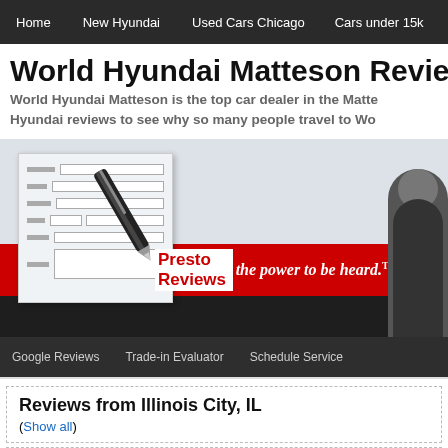Home | New Hyundai | Used Cars Chicago | Cars under 15k
World Hyundai Matteson Reviews
World Hyundai Matteson is the top car dealer in the Matte... Hyundai reviews to see why so many people travel to Wo...
[Figure (illustration): Presto Reviews banner with a form/document with pen and a person silhouette. Text reads 'Presto Reviews the power to be heard.(TM)']
Google Reviews | Trade-in Evaluator | Schedule Service
Reviews from Illinois City, IL
(Show all)
Jaquan K. of Illinois City IL